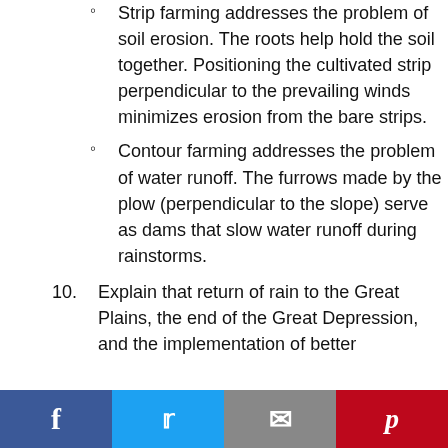Strip farming addresses the problem of soil erosion. The roots help hold the soil together. Positioning the cultivated strip perpendicular to the prevailing winds minimizes erosion from the bare strips.
Contour farming addresses the problem of water runoff. The furrows made by the plow (perpendicular to the slope) serve as dams that slow water runoff during rainstorms.
10. Explain that return of rain to the Great Plains, the end of the Great Depression, and the implementation of better